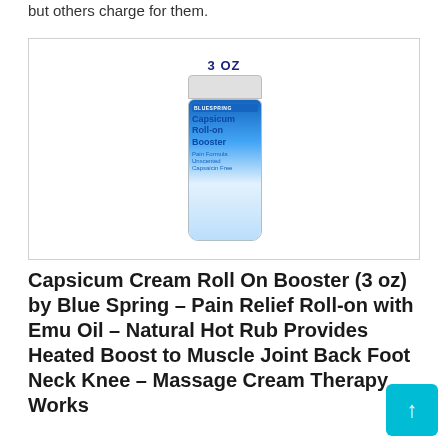but others charge for them.
[Figure (photo): A roll-on bottle of Capsicum Roll-on Booster 3 OZ by Blue Spring, white bottle with blue label showing product name]
Capsicum Cream Roll On Booster (3 oz) by Blue Spring – Pain Relief Roll-on with Emu Oil – Natural Hot Rub Provides Heated Boost to Muscle Joint Back Foot Neck Knee – Massage Cream Therapy Works